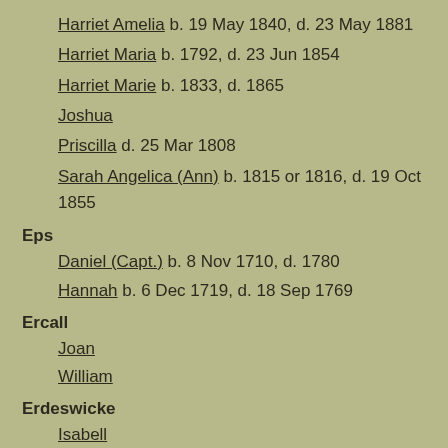Harriet Amelia   b. 19 May 1840, d. 23 May 1881
Harriet Maria   b. 1792, d. 23 Jun 1854
Harriet Marie   b. 1833, d. 1865
Joshua
Priscilla   d. 25 Mar 1808
Sarah Angelica (Ann)   b. 1815 or 1816, d. 19 Oct 1855
Eps
Daniel (Capt.)   b. 8 Nov 1710, d. 1780
Hannah   b. 6 Dec 1719, d. 18 Sep 1769
Ercall
Joan
William
Erdeswicke
Isabell
Ernst